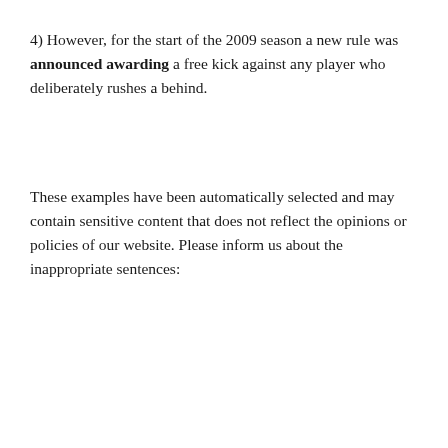4) However, for the start of the 2009 season a new rule was announced awarding a free kick against any player who deliberately rushes a behind.
These examples have been automatically selected and may contain sensitive content that does not reflect the opinions or policies of our website. Please inform us about the inappropriate sentences: